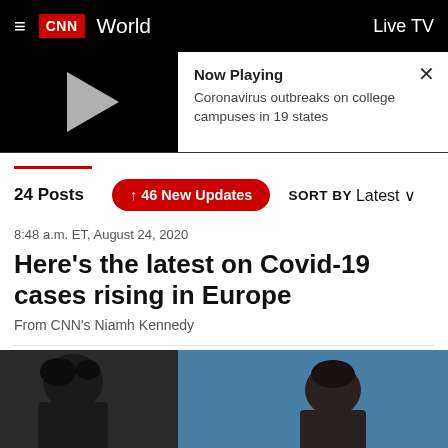CNN World — Live TV
[Figure (screenshot): Video player bar showing a play button on dark background with 'Now Playing: Coronavirus outbreaks on college campuses in 19 states']
24 Posts   ↑ 46 New Updates   SORT BY Latest
8:48 a.m. ET, August 24, 2020
Here's the latest on Covid-19 cases rising in Europe
From CNN's Niamh Kennedy
[Figure (photo): Photo of two people, partially visible, against a teal/blue background]